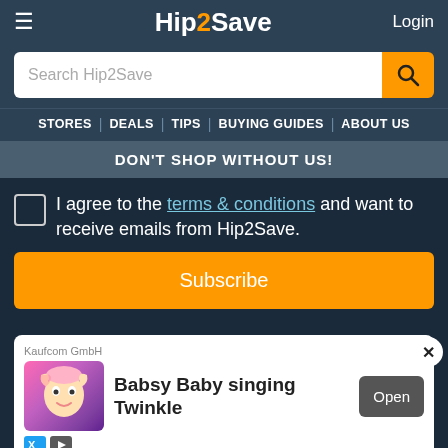≡  Hip2Save  Login
Search Hip2Save
STORES | DEALS | TIPS | BUYING GUIDES | ABOUT US
DON'T SHOP WITHOUT US!
I agree to the terms & conditions and want to receive emails from Hip2Save.
Subscribe
[Figure (screenshot): Advertisement card showing Kaufcom GmbH - Babsy Baby singing Twinkle app with cartoon baby face on pink background and Open button]
Kaufcom GmbH
Babsy Baby singing Twinkle